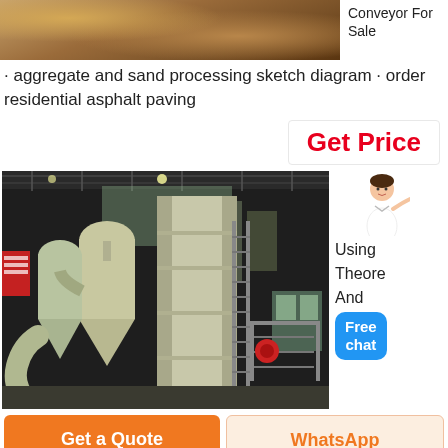[Figure (photo): Partial top image showing sand/aggregate material with brown/tan texture]
Conveyor For Sale · aggregate and sand processing sketch diagram · order residential asphalt paving
Get Price
[Figure (photo): Industrial facility interior showing large industrial grinding/milling machines with cyclone dust collectors, yellow-green equipment in a factory building with steel roof trusses]
[Figure (illustration): Female assistant figure in white clothing, pointing]
Using Theore And
Free chat
Get a Quote
WhatsApp